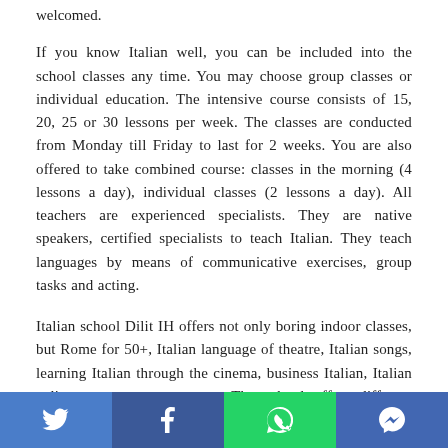welcomed.
If you know Italian well, you can be included into the school classes any time. You may choose group classes or individual education. The intensive course consists of 15, 20, 25 or 30 lessons per week. The classes are conducted from Monday till Friday to last for 2 weeks. You are also offered to take combined course: classes in the morning (4 lessons a day), individual classes (2 lessons a day). All teachers are experienced specialists. They are native speakers, certified specialists to teach Italian. They teach languages by means of communicative exercises, group tasks and acting.
Italian school Dilit IH offers not only boring indoor classes, but Rome for 50+, Italian language of theatre, Italian songs, learning Italian through the cinema, business Italian, Italian culinary, pre-exams courses. The school offers different intensive programs of out-of-class events